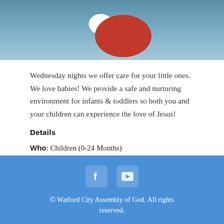[Figure (photo): Photo of colorful stuffed animal toys (red bird/owl plush) against a blue-grey background, partially visible at top of page]
Wednesday nights we offer care for your little ones. We love babies! We provide a safe and nurturing environment for infants & toddlers so both you and your children can experience the love of Jesus!
Details
Who: Children (0-24 Months)
When: Wednesday Nights @ 7:00 PM
Where: Nursery
© Watford City Assembly of God. All rights reserved.